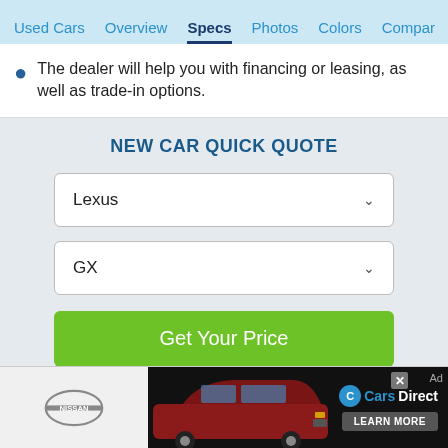Used Cars  Overview  Specs  Photos  Colors  Compar
The dealer will help you with financing or leasing, as well as trade-in options.
NEW CAR QUICK QUOTE
[Figure (screenshot): Dropdown selector showing 'Lexus' with chevron arrow]
[Figure (screenshot): Dropdown selector showing 'GX' with chevron arrow]
[Figure (screenshot): Green 'Get Your Price' button]
[Figure (screenshot): Advertisement banner: Nissan logo, red SUV car, CarsDirect logo with LEARN MORE button and close X, Ad label]